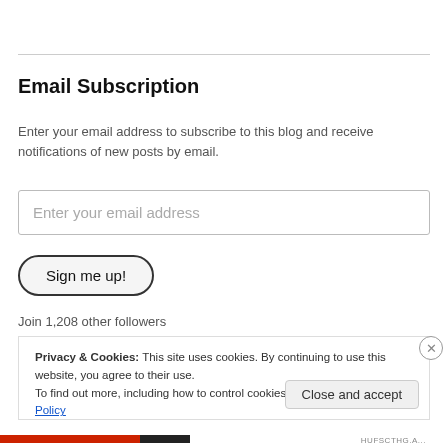Email Subscription
Enter your email address to subscribe to this blog and receive notifications of new posts by email.
Enter your email address
Sign me up!
Join 1,208 other followers
Privacy & Cookies: This site uses cookies. By continuing to use this website, you agree to their use.
To find out more, including how to control cookies, see here: Cookie Policy
Close and accept